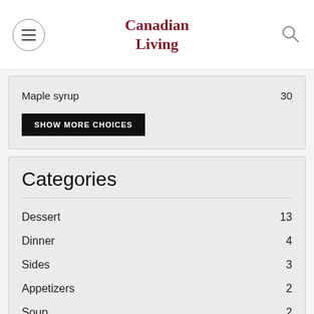Canadian Living
Maple syrup  30
SHOW MORE CHOICES
Categories
Dessert  13
Dinner  4
Sides  3
Appetizers  2
Soup  2
SHOW MORE CHOICES